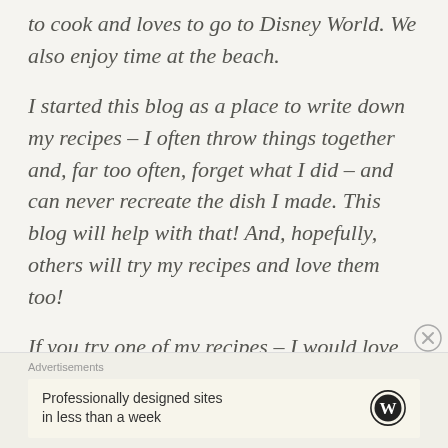to cook and loves to go to Disney World.  We also enjoy time at the beach.
I started this blog as a place to write down my recipes – I often throw things together and, far too often, forget what I did – and can never recreate the dish I made.  This blog will help with that!  And, hopefully, others will try my recipes and love them too!
If you try one of my recipes – I would love to hear what you think!!
Advertisements
Professionally designed sites in less than a week